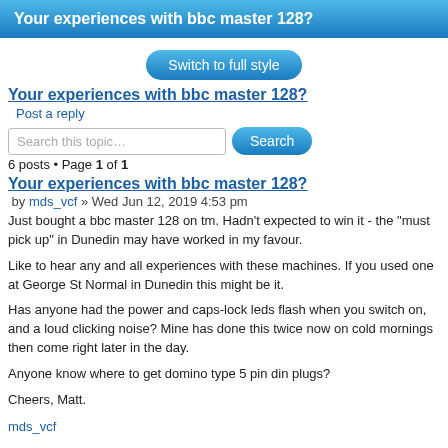Your experiences with bbc master 128?
Switch to full style
Your experiences with bbc master 128?
Post a reply
Search this topic…
6 posts • Page 1 of 1
Your experiences with bbc master 128?
by mds_vcf » Wed Jun 12, 2019 4:53 pm
Just bought a bbc master 128 on tm. Hadn't expected to win it - the "must pick up" in Dunedin may have worked in my favour.

Like to hear any and all experiences with these machines. If you used one at George St Normal in Dunedin this might be it.

Has anyone had the power and caps-lock leds flash when you switch on, and a loud clicking noise? Mine has done this twice now on cold mornings then come right later in the day.

Anyone know where to get domino type 5 pin din plugs?

Cheers, Matt.
mds_vcf